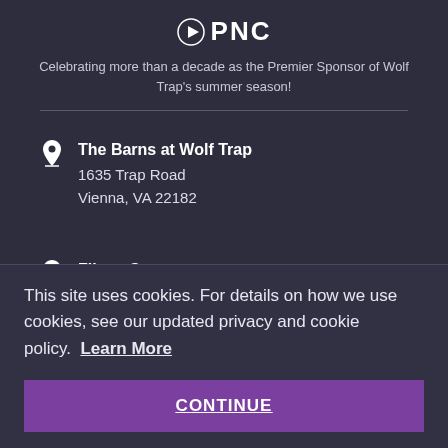[Figure (logo): PNC bank logo with play-button style icon and text 'PNC']
Celebrating more than a decade as the Premier Sponsor of Wolf Trap's summer season!
The Barns at Wolf Trap
1635 Trap Road
Vienna, VA 22182
Filene Center
1551 Trap Road
This site uses cookies. For details on how we use cookies, see our updated privacy and cookie policy. Learn More
CONTINUE